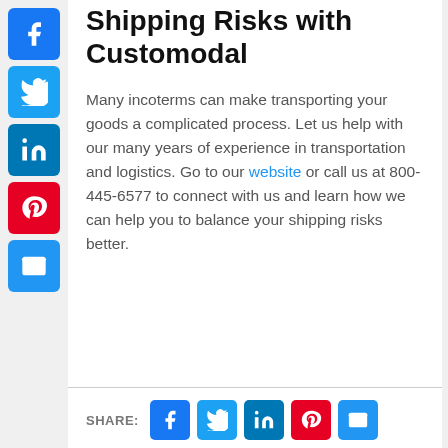Shipping Risks with Customodal
Many incoterms can make transporting your goods a complicated process. Let us help with our many years of experience in transportation and logistics. Go to our website or call us at 800-445-6577 to connect with us and learn how we can help you to balance your shipping risks better.
[Figure (other): Sidebar with social media share buttons: Facebook (blue), Twitter (blue), LinkedIn (blue), Pinterest (red), Email (blue)]
[Figure (other): Bottom share bar with SHARE label and Facebook, Twitter, LinkedIn, Pinterest, Email buttons]